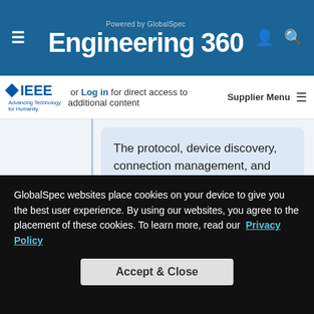Powered by GlobalSpec Engineering 360
or Log in for direct access to additional content  Supplier Menu
The protocol, device discovery, connection management, and device-control procedures used to facilitate interoperability between audio- and video-based end stations that use IEEE 1722-based streams...
P1722-2016-Cor1/D0, June   August 3,
GlobalSpec websites place cookies on your device to give you the best user experience. By using our websites, you agree to the placement of these cookies. To learn more, read our Privacy Policy
Accept & Close